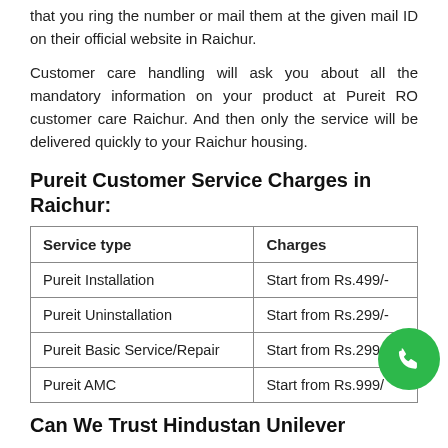that you ring the number or mail them at the given mail ID on their official website in Raichur.
Customer care handling will ask you about all the mandatory information on your product at Pureit RO customer care Raichur. And then only the service will be delivered quickly to your Raichur housing.
Pureit Customer Service Charges in Raichur:
| Service type | Charges |
| --- | --- |
| Pureit Installation | Start from Rs.499/- |
| Pureit Uninstallation | Start from Rs.299/- |
| Pureit Basic Service/Repair | Start from Rs.299/- |
| Pureit AMC | Start from Rs.999/ |
Can We Trust Hindustan Unilever